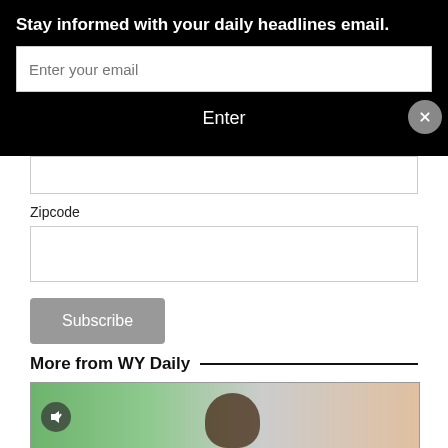Stay informed with your daily headlines email.
Enter your email
Enter
Zipcode
Subscribe
More from WY Daily
[Figure (photo): A muted video thumbnail showing a person (woman with dark hair) indoors near a window with greenery visible outside.]